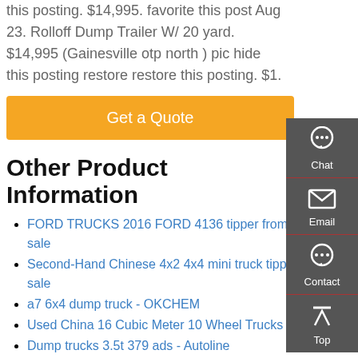this posting. $14,995. favorite this post Aug 23. Rolloff Dump Trailer W/ 20 yard. $14,995 (Gainesville otp north ) pic hide this posting restore restore this posting. $1.
[Figure (other): Get a Quote orange button]
[Figure (other): Sidebar with Chat, Email, Contact, Top navigation icons on dark grey background]
Other Product Information
FORD TRUCKS 2016 FORD 4136 tipper from Turkey for sale
Second-Hand Chinese 4x2 4x4 mini truck tipper dump for sale
a7 6x4 dump truck - OKCHEM
Used China 16 Cubic Meter 10 Wheel Trucks HOWO
Dump trucks 3.5t 379 ads - Autoline